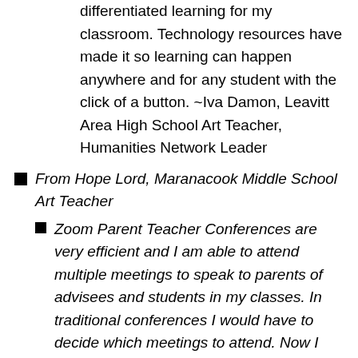differentiated learning for my classroom. Technology resources have made it so learning can happen anywhere and for any student with the click of a button. ~Iva Damon, Leavitt Area High School Art Teacher, Humanities Network Leader
From Hope Lord, Maranacook Middle School Art Teacher
Zoom Parent Teacher Conferences are very efficient and I am able to attend multiple meetings to speak to parents of advisees and students in my classes. In traditional conferences I would have to decide which meetings to attend. Now I can join a meeting and share and then leave and join another student's meeting within a few seconds. It's been a great tool.
Another wonderful benefit from having to adapt to teaching during a pandemic is that most of my